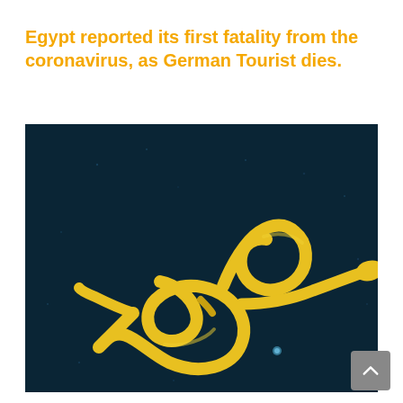Egypt reported its first fatality from the coronavirus, as German Tourist dies.
[Figure (photo): Colorized scanning electron microscope image of a coronavirus/virus particle (yellow/gold colored filamentous virus) on a dark teal background. The virus particle has a knotted, looping filamentous structure with a bulbous end.]